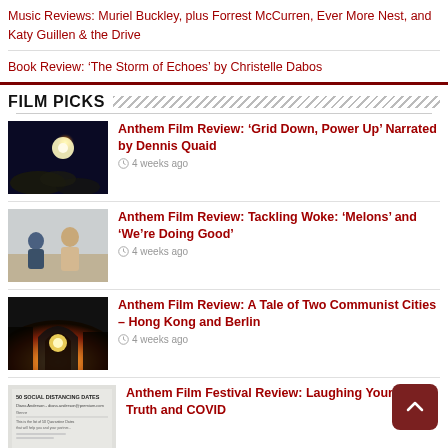Music Reviews: Muriel Buckley, plus Forrest McCurren, Ever More Nest, and Katy Guillen & the Drive
Book Review: 'The Storm of Echoes' by Christelle Dabos
FILM PICKS
[Figure (photo): Thumbnail image: glowing bright orb (sun or moon) over dark Earth-like surface, night sky]
Anthem Film Review: 'Grid Down, Power Up' Narrated by Dennis Quaid
4 weeks ago
[Figure (photo): Thumbnail image: two people outdoors, one in white clothing]
Anthem Film Review: Tackling Woke: 'Melons' and 'We're Doing Good'
4 weeks ago
[Figure (photo): Thumbnail image: golden sunrise or sunset behind an arch or gateway structure with dark silhouettes]
Anthem Film Review: A Tale of Two Communist Cities – Hong Kong and Berlin
4 weeks ago
[Figure (photo): Thumbnail image: text document with '50 SOCIAL DISTANCING DATES' heading and author name]
Anthem Film Festival Review: Laughing Your Way to Truth and COVID